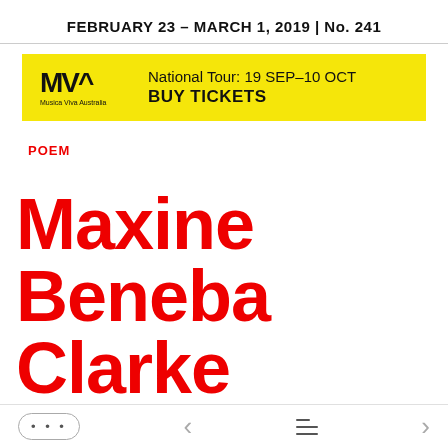FEBRUARY 23 – MARCH 1, 2019  |  No. 241
[Figure (infographic): Musica Viva Australia advertisement banner with yellow background. Logo on left with MV stylized letters and 'Musica Viva Australia' text. Right side reads: 'National Tour: 19 SEP–10 OCT' and 'BUY TICKETS']
POEM
Maxine Beneba Clarke